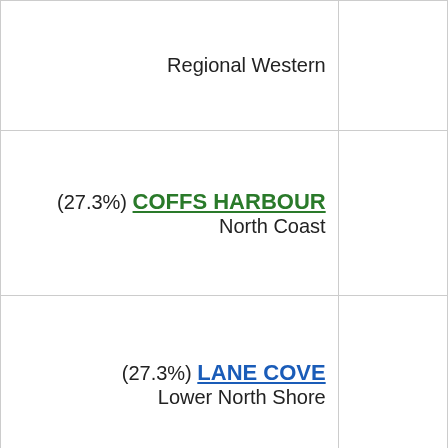| Electorate |  |
| --- | --- |
| Regional Western |  |
| (27.3%) COFFS HARBOUR
North Coast |  |
| (27.3%) LANE COVE
Lower North Shore |  |
| (27.5%) EPPING
Northern Sydney |  |
| (27.6%) NORTHERN TABLELANDS
New England |  |
| (27.8%) WAGGA WAGGA |  |